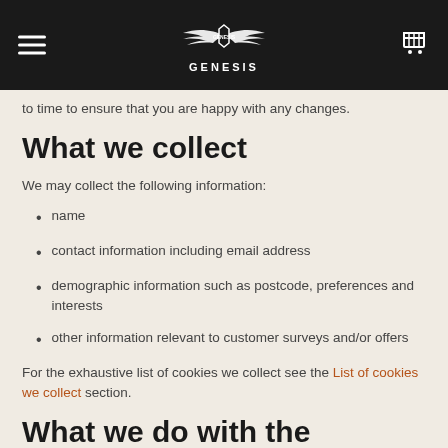GENESIS — navigation header
to time to ensure that you are happy with any changes.
What we collect
We may collect the following information:
name
contact information including email address
demographic information such as postcode, preferences and interests
other information relevant to customer surveys and/or offers
For the exhaustive list of cookies we collect see the List of cookies we collect section.
What we do with the information we gather